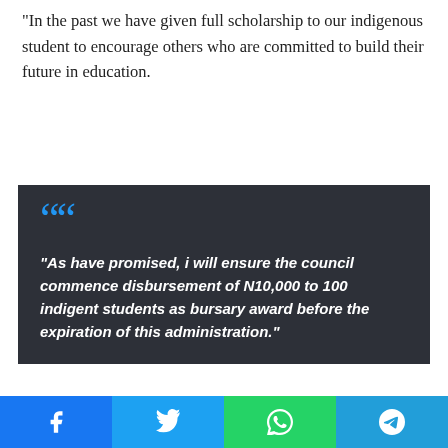“In the past we have given full scholarship to our indigenous student to encourage others who are committed to build their future in education.
[Figure (other): Dark gray quote block with large blue quotation mark icon and white bold italic text: “As have promised, i will ensure the council commence disbursement of N10,000 to 100 indigent students as bursary award before the expiration of this administration.”]
“Am always happy to see that youths in this community have the desire to further their education,” Daini said.
[Figure (infographic): Social media sharing bar at the bottom with Facebook, Twitter, WhatsApp, and Telegram buttons. A red scroll-to-top button on the right side.]